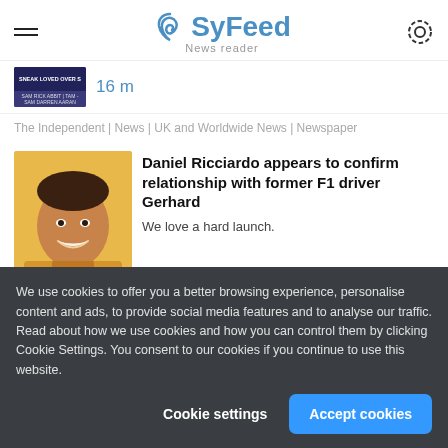SyFeed News reader
[Figure (screenshot): Partial news thumbnail with white text on dark background, showing '16 m' timestamp in blue]
The Independent | News | UK and Worldwide News | Newspaper
[Figure (photo): Photo of Daniel Ricciardo smiling, wearing orange/yellow jersey]
Daniel Ricciardo appears to confirm relationship with former F1 driver Gerhard
We love a hard launch.
We use cookies to offer you a better browsing experience, personalise content and ads, to provide social media features and to analyse our traffic. Read about how we use cookies and how you can control them by clicking Cookie Settings. You consent to our cookies if you continue to use this website.